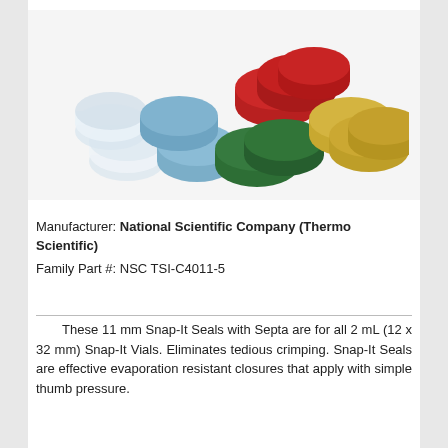[Figure (photo): Multiple colored snap-it vial seals/caps arranged in a group: clear/white, light blue, red, green, and yellow colored caps]
Manufacturer: National Scientific Company (Thermo Scientific)
Family Part #: NSC TSI-C4011-5
These 11 mm Snap-It Seals with Septa are for all 2 mL (12 x 32 mm) Snap-It Vials. Eliminates tedious crimping. Snap-It Seals are effective evaporation resistant closures that apply with simple thumb pressure.